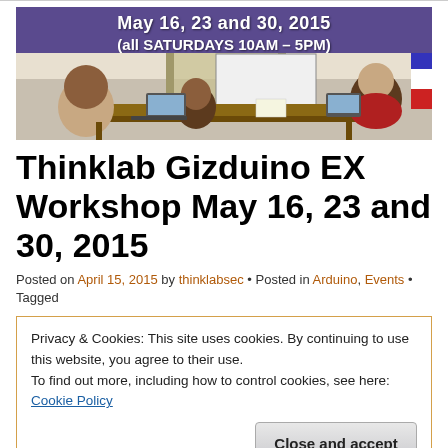[Figure (photo): Workshop banner image showing 'May 16, 23 and 30, 2015 (all SATURDAYS 10AM – 5PM)' with a purple/dark background header and a photo of people at a workshop/classroom setting below]
Thinklab Gizduino EX Workshop May 16, 23 and 30, 2015
Posted on April 15, 2015 by thinklabsec • Posted in Arduino, Events • Tagged
Privacy & Cookies: This site uses cookies. By continuing to use this website, you agree to their use.
To find out more, including how to control cookies, see here: Cookie Policy
Close and accept
manila, thinklab, thinklab gizduino, thinklab manila, thinklab philippines,